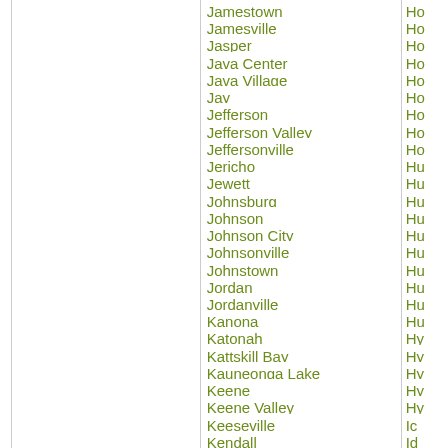Jamestown
Jamesville
Jasper
Java Center
Java Village
Jay
Jefferson
Jefferson Valley
Jeffersonville
Jericho
Jewett
Johnsburg
Johnson
Johnson City
Johnsonville
Johnstown
Jordan
Jordanville
Kanona
Katonah
Kattskill Bay
Kauneonga Lake
Keene
Keene Valley
Keeseville
Kendall